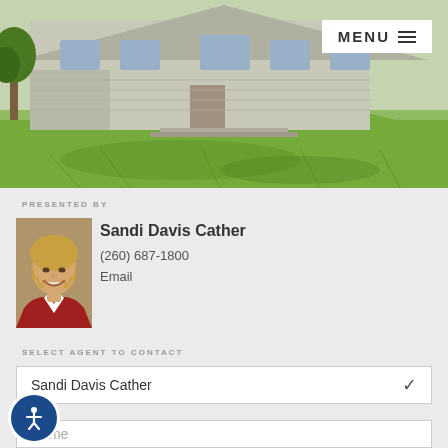[Figure (photo): Exterior photo of a single-story gray house with large lawn and trees, viewed from the front yard. A MENU button with hamburger icon is visible in the top-right corner.]
PRESENTED BY
[Figure (photo): Headshot of Sandi Davis Cather, a woman with short blonde hair wearing a red blazer with white collar, smiling.]
Sandi Davis Cather
(260) 687-1800
Email
SELECT AGENT TO CONTACT
Sandi Davis Cather
Name